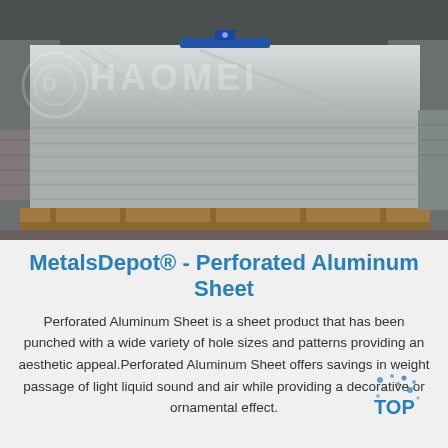[Figure (photo): Photo of large aluminum sheets/blocks stacked on wooden pallets in an industrial warehouse. The blocks have a 'HAOMEI' watermark text overlaid. A blue level instrument sits on top. The aluminum surfaces show horizontal striations and metallic sheen.]
MetalsDepot® - Perforated Aluminum Sheet
Perforated Aluminum Sheet is a sheet product that has been punched with a wide variety of hole sizes and patterns providing an aesthetic appeal.Perforated Aluminum Sheet offers savings in weight passage of light liquid sound and air while providing a decorative or ornamental effect.